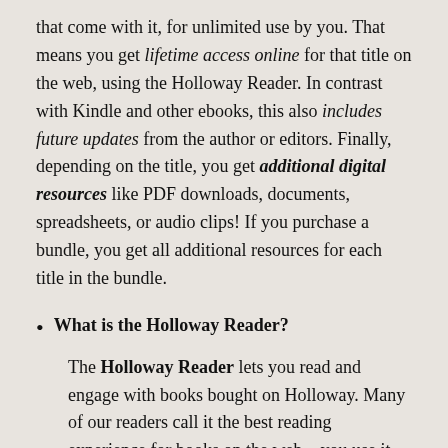that come with it, for unlimited use by you. That means you get lifetime access online for that title on the web, using the Holloway Reader. In contrast with Kindle and other ebooks, this also includes future updates from the author or editors. Finally, depending on the title, you get additional digital resources like PDF downloads, documents, spreadsheets, or audio clips! If you purchase a bundle, you get all additional resources for each title in the bundle.
What is the Holloway Reader?
The Holloway Reader lets you read and engage with books bought on Holloway. Many of our readers call it the best reading experience for books on the web—you use it right in your browser, on desktop, or…